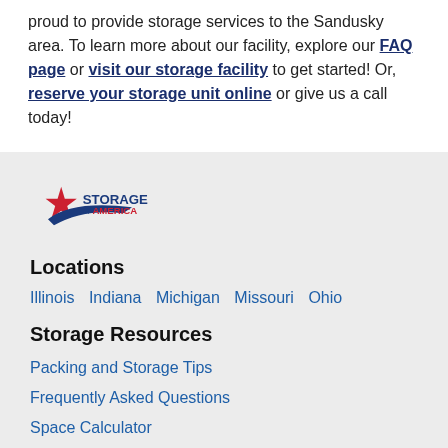proud to provide storage services to the Sandusky area. To learn more about our facility, explore our FAQ page or visit our storage facility to get started! Or, reserve your storage unit online or give us a call today!
[Figure (logo): Storage of America logo with red star and blue swoosh]
Locations
Illinois  Indiana  Michigan  Missouri  Ohio
Storage Resources
Packing and Storage Tips
Frequently Asked Questions
Space Calculator
What Fits